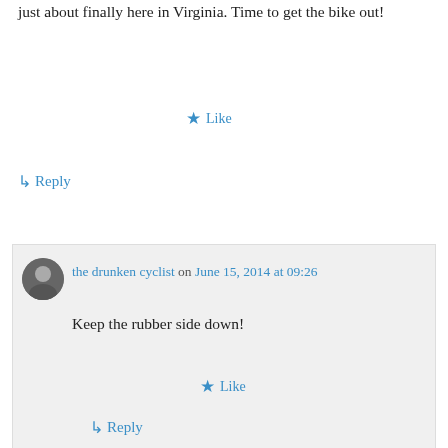just about finally here in Virginia. Time to get the bike out!
★ Like
↳ Reply
the drunken cyclist on June 15, 2014 at 09:26
Keep the rubber side down!
★ Like
↳ Reply
Wine Life Radio on April 14, 2014 at 15:29
Call into the Radio Show this coming Saturday ?